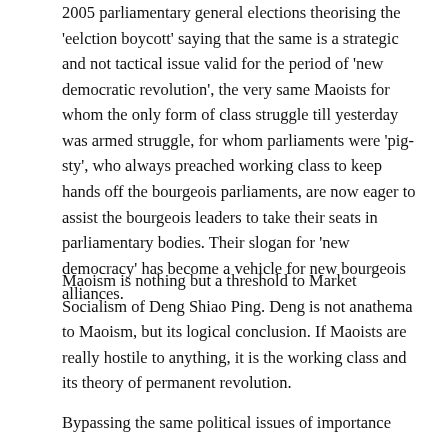2005 parliamentary general elections theorising the 'eelction boycott' saying that the same is a strategic and not tactical issue valid for the period of 'new democratic revolution', the very same Maoists for whom the only form of class struggle till yesterday was armed struggle, for whom parliaments were 'pig-sty', who always preached working class to keep hands off the bourgeois parliaments, are now eager to assist the bourgeois leaders to take their seats in parliamentary bodies. Their slogan for 'new democracy' has become a vehicle for new bourgeois alliances.
Maoism is nothing but a threshold to Market Socialism of Deng Shiao Ping. Deng is not anathema to Maoism, but its logical conclusion. If Maoists are really hostile to anything, it is the working class and its theory of permanent revolution.
Bypassing the same political issues of importance...